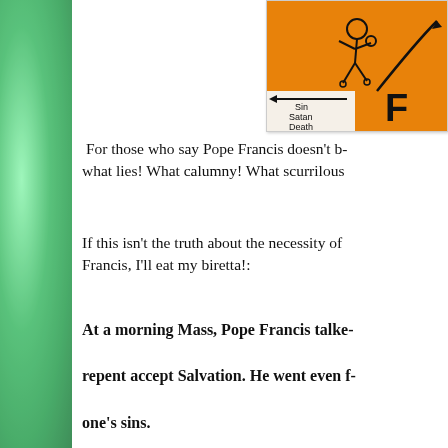[Figure (illustration): Orange background diagram showing a stick figure running away from arrows labeled Sin, Satan, Death, with a curved line and letter F partially visible]
For those who say Pope Francis doesn't b- what lies! What calumny! What scurrilous
If this isn't the truth about the necessity of Francis, I'll eat my biretta!:
At a morning Mass, Pope Francis talked repent accept Salvation. He went even f- one's sins.